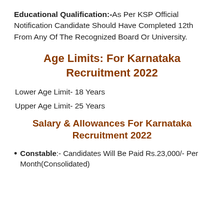Educational Qualification:- As Per KSP Official Notification Candidate Should Have Completed 12th From Any Of The Recognized Board Or University.
Age Limits: For Karnataka Recruitment 2022
Lower Age Limit- 18 Years
Upper Age Limit- 25 Years
Salary & Allowances For Karnataka Recruitment 2022
Constable:- Candidates Will Be Paid Rs.23,000/- Per Month(Consolidated)